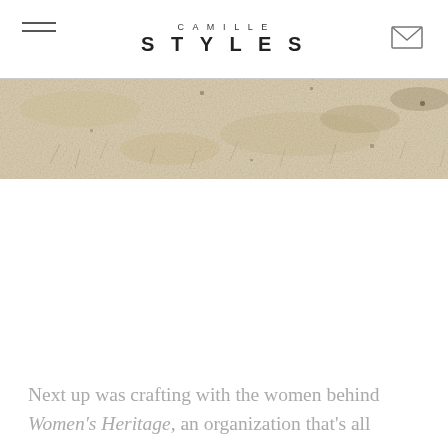CAMILLE STYLES
[Figure (photo): Close-up photo of dry sandy or grassy terrain in pale beige/tan tones, serving as a hero banner image below the site header.]
Next up was crafting with the women behind Women's Heritage, an organization that's all